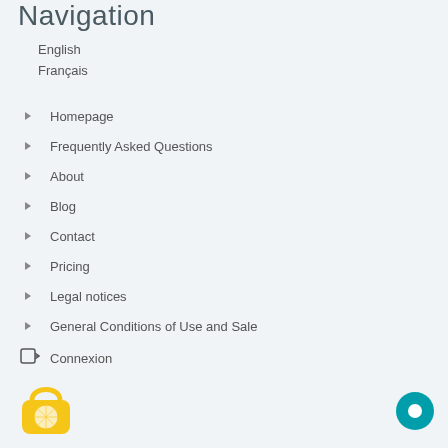Navigation
English
Français
Homepage
Frequently Asked Questions
About
Blog
Contact
Pricing
Legal notices
General Conditions of Use and Sale
Connexion
[Figure (illustration): Yellow lemon padlock logo icon at bottom left]
[Figure (illustration): Teal circular chat/message button at bottom right]